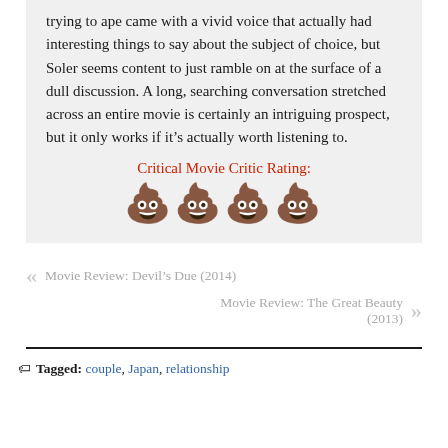trying to ape came with a vivid voice that actually had interesting things to say about the subject of choice, but Soler seems content to just ramble on at the surface of a dull discussion. A long, searching conversation stretched across an entire movie is certainly an intriguing prospect, but it only works if it’s actually worth listening to.
Critical Movie Critic Rating:
[Figure (other): Four poop emoji symbols representing a rating of 4 out of 5 (or similar scale)]
Movie Review: Devil’s Due (2014)
Movie Review: The Great Beauty (2013)
Tagged: couple, Japan, relationship